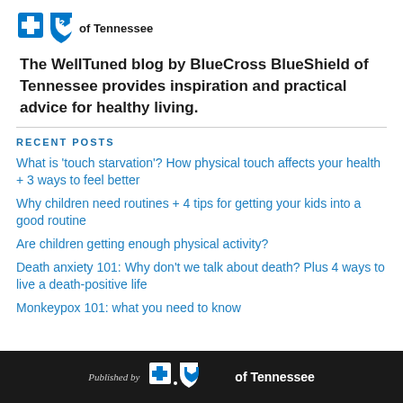[Figure (logo): BlueCross BlueShield of Tennessee logo with two shield icons and text 'of Tennessee']
The WellTuned blog by BlueCross BlueShield of Tennessee provides inspiration and practical advice for healthy living.
RECENT POSTS
What is 'touch starvation'? How physical touch affects your health + 3 ways to feel better
Why children need routines + 4 tips for getting your kids into a good routine
Are children getting enough physical activity?
Death anxiety 101: Why don't we talk about death? Plus 4 ways to live a death-positive life
Monkeypox 101: what you need to know
Published by BlueCross BlueShield of Tennessee